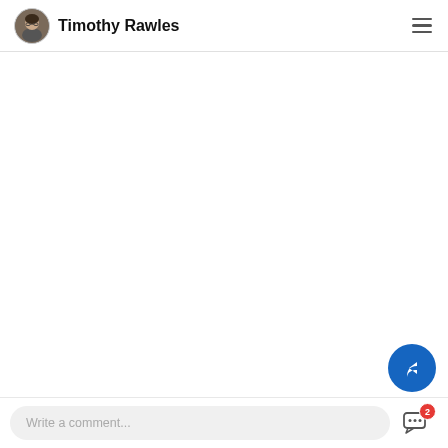Timothy Rawles
[Figure (screenshot): Large empty white content area]
[Figure (other): Blue circular share/reply FAB button with white reply arrow icon]
[Figure (other): Chat/message icon with red badge showing count 2]
Write a comment...